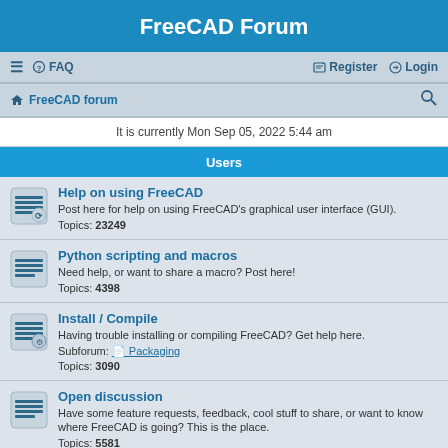FreeCAD Forum
≡  FAQ    Register  Login
🏠 FreeCAD forum   🔍
It is currently Mon Sep 05, 2022 5:44 am
Users
Help on using FreeCAD
Post here for help on using FreeCAD's graphical user interface (GUI).
Topics: 23249
Python scripting and macros
Need help, or want to share a macro? Post here!
Topics: 4398
Install / Compile
Having trouble installing or compiling FreeCAD? Get help here.
Subforum: Packaging
Topics: 3090
Open discussion
Have some feature requests, feedback, cool stuff to share, or want to know where FreeCAD is going? This is the place.
Topics: 5581
Announcements & Features
Info about new community or project announcements, implemented features, classes, modules or APIs. Might get technical!
PLEASE DO NOT POST HELP REQUESTS OR OTHER DISCUSSIONS